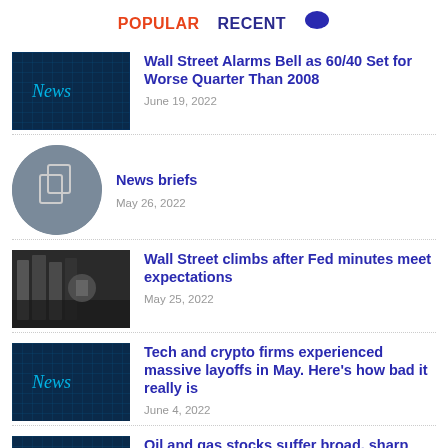POPULAR   RECENT
Wall Street Alarms Bell as 60/40 Set for Worse Quarter Than 2008
June 19, 2022
News briefs
May 26, 2022
Wall Street climbs after Fed minutes meet expectations
May 25, 2022
Tech and crypto firms experienced massive layoffs in May. Here's how bad it really is
June 4, 2022
Oil and gas stocks suffer broad, sharp selloff as crude futures drop